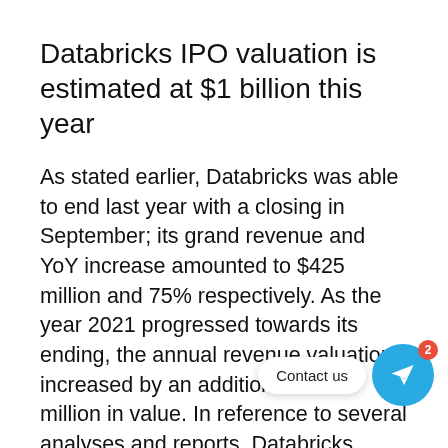Databricks IPO valuation is estimated at $1 billion this year
As stated earlier, Databricks was able to end last year with a closing in September; its grand revenue and YoY increase amounted to $425 million and 75% respectively. As the year 2021 progressed towards its ending, the annual revenue valuation increased by an additional $175 million in value. In reference to several analyses and reports, Databricks experienced an increased demand for their services during the pandemic, as there was an increase in the demand for cloud-data analysis. With the compa no known to investors, and their recent fea reaching a $38 million valuation, investors